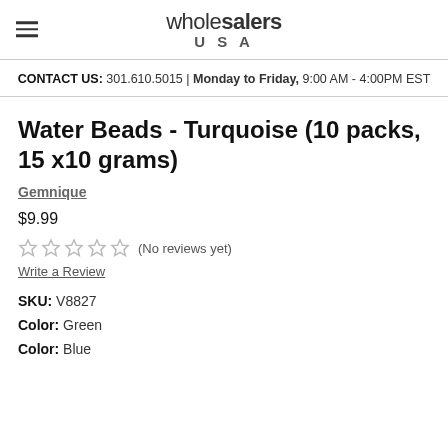wholesalers USA
CONTACT US: 301.610.5015 | Monday to Friday, 9:00 AM - 4:00PM EST
Water Beads - Turquoise (10 packs, 15 x10 grams)
Gemnique
$9.99
(No reviews yet)
Write a Review
SKU: V8827
Color: Green
Color: Blue